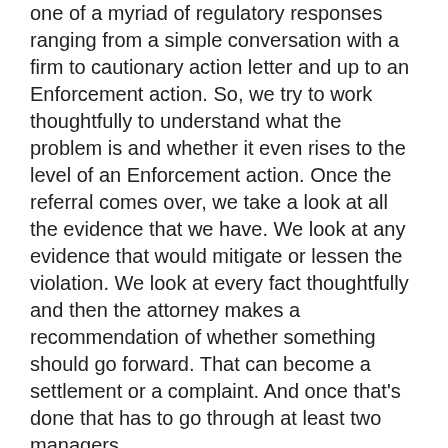one of a myriad of regulatory responses ranging from a simple conversation with a firm to cautionary action letter and up to an Enforcement action. So, we try to work thoughtfully to understand what the problem is and whether it even rises to the level of an Enforcement action. Once the referral comes over, we take a look at all the evidence that we have. We look at any evidence that would mitigate or lessen the violation. We look at every fact thoughtfully and then the attorney makes a recommendation of whether something should go forward. That can become a settlement or a complaint. And once that's done that has to go through at least two managers.
This isn't an easy process. And managers review and question. And once we all agree that this is something that should become an enforcement action, then we approach the broker or the firm and begin discussions on what we see, why we believe it's an enforcement action and then